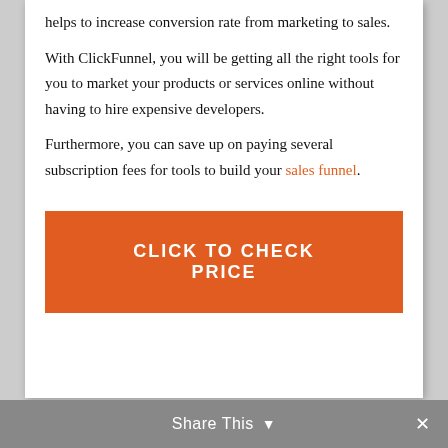helps to increase conversion rate from marketing to sales.
With ClickFunnel, you will be getting all the right tools for you to market your products or services online without having to hire expensive developers.
Furthermore, you can save up on paying several subscription fees for tools to build your sales funnel.
[Figure (other): Orange call-to-action button with white text reading CLICK TO CHECK PRICE]
Share This ∨  ✕